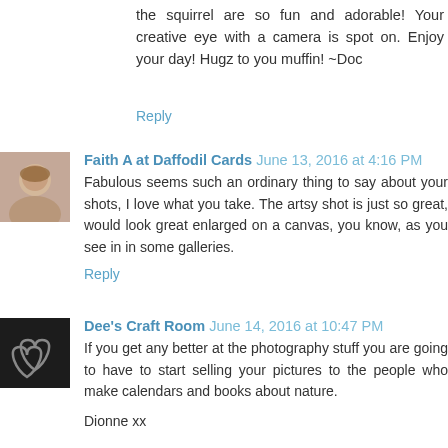the squirrel are so fun and adorable! Your creative eye with a camera is spot on. Enjoy your day! Hugz to you muffin! ~Doc
Reply
Faith A at Daffodil Cards June 13, 2016 at 4:16 PM
Fabulous seems such an ordinary thing to say about your shots, I love what you take. The artsy shot is just so great, would look great enlarged on a canvas, you know, as you see in in some galleries.
Reply
[Figure (photo): Avatar photo of Faith A, a woman with blonde hair]
Dee's Craft Room June 14, 2016 at 10:47 PM
If you get any better at the photography stuff you are going to have to start selling your pictures to the people who make calendars and books about nature.

Dionne xx
[Figure (photo): Avatar image with dark background showing two heart shapes]